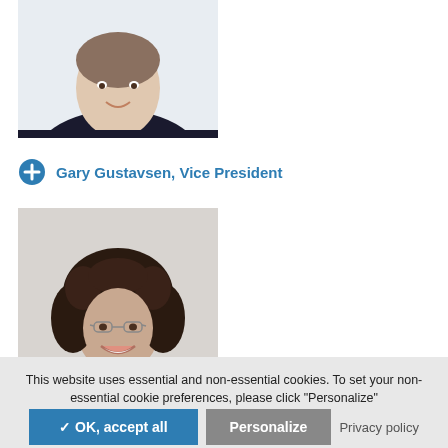[Figure (photo): Professional headshot of a man in a dark suit with a blue tie, light blue shirt, smiling.]
Gary Gustavsen, Vice President
[Figure (photo): Professional headshot of a woman with curly dark hair and glasses, smiling.]
This website uses essential and non-essential cookies. To set your non-essential cookie preferences, please click "Personalize"
✓ OK, accept all
Personalize
Privacy policy